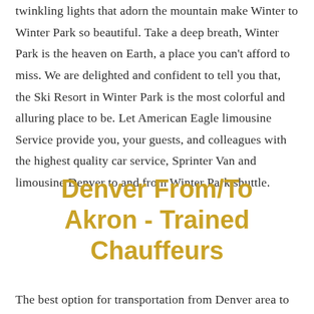twinkling lights that adorn the mountain make Winter to Winter Park so beautiful. Take a deep breath, Winter Park is the heaven on Earth, a place you can't afford to miss. We are delighted and confident to tell you that, the Ski Resort in Winter Park is the most colorful and alluring place to be. Let American Eagle limousine Service provide you, your guests, and colleagues with the highest quality car service, Sprinter Van and limousine Denver to and from Winter Park shuttle.
Denver From/To Akron - Trained Chauffeurs
The best option for transportation from Denver area to